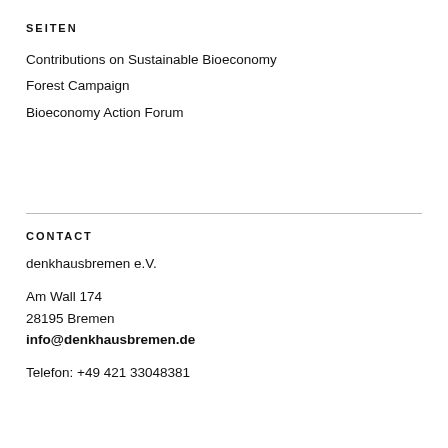SEITEN
Contributions on Sustainable Bioeconomy
Forest Campaign
Bioeconomy Action Forum
CONTACT
denkhausbremen e.V.
Am Wall 174
28195 Bremen
info@denkhausbremen.de
Telefon: +49 421 33048381